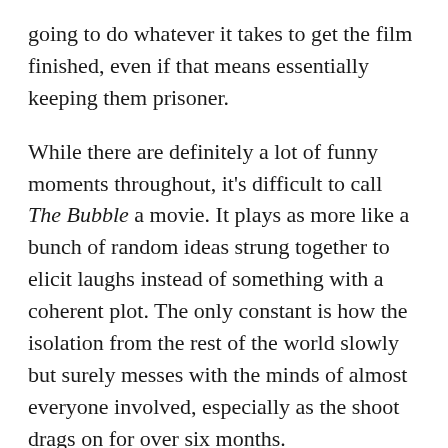going to do whatever it takes to get the film finished, even if that means essentially keeping them prisoner.
While there are definitely a lot of funny moments throughout, it's difficult to call The Bubble a movie. It plays as more like a bunch of random ideas strung together to elicit laughs instead of something with a coherent plot. The only constant is how the isolation from the rest of the world slowly but surely messes with the minds of almost everyone involved, especially as the shoot drags on for over six months.
The film is hit-and-miss with its commentary on life during COVID and the film industry as a whole. It's ironic that a film with a story that's partially about getting people back into theaters is debuting on Netflix, so it's surprising the film doesn't comment on that. Also, the ideas it